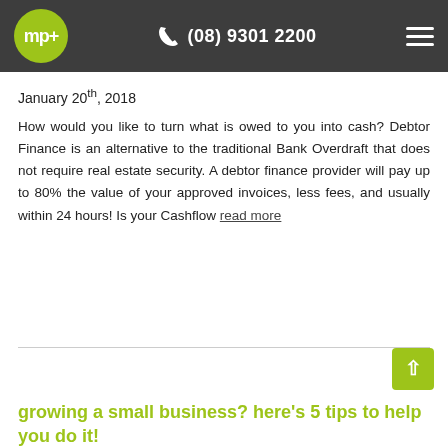mp+ | (08) 9301 2200
January 20th, 2018
How would you like to turn what is owed to you into cash? Debtor Finance is an alternative to the traditional Bank Overdraft that does not require real estate security. A debtor finance provider will pay up to 80% the value of your approved invoices, less fees, and usually within 24 hours! Is your Cashflow read more
growing a small business? here's 5 tips to help you do it!